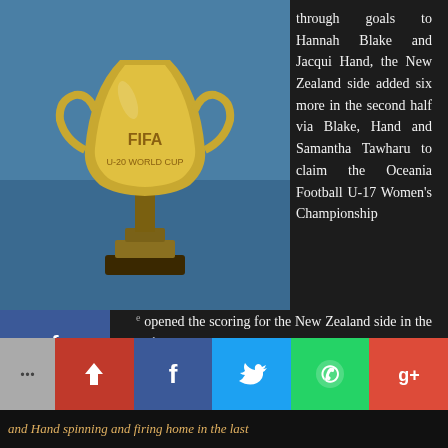[Figure (photo): FIFA trophy / World Cup trophy against a blue background]
through goals to Hannah Blake and Jacqui Hand, the New Zealand side added six more in the second half via Blake, Hand and Samantha Tawharu to claim the Oceania Football U-17 Women's Championship
[Figure (infographic): Social media share buttons sidebar: Facebook, Google+, Twitter, Pinterest, Blogger]
opened the scoring for the New Zealand side in the 36th minute on the end of a cross into the Papua New Guinea area before Jacqui Hand made it 2-0 eight minutes later.
[Figure (infographic): Bottom social share bar: more (...), share, Facebook, Twitter, WhatsApp, Google+]
and Hand spinning and firing home in the last